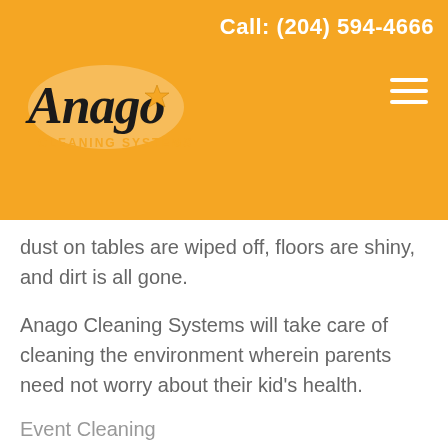Call: (204) 594-4666
[Figure (logo): Anago Cleaning Systems logo with stylized text and star on orange background]
dust on tables are wiped off, floors are shiny, and dirt is all gone.
Anago Cleaning Systems will take care of cleaning the environment wherein parents need not worry about their kid's health.
Event Cleaning
Last on this list is the event cleaning services that Anago Cleaning